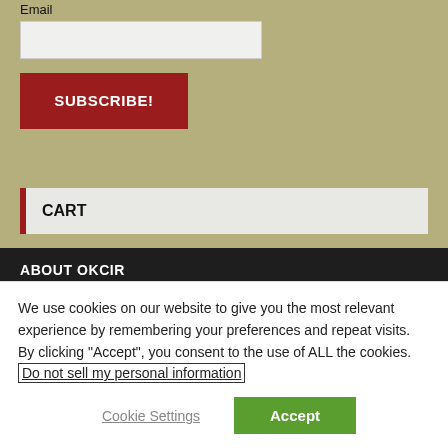Email
SUBSCRIBE!
CART
ABOUT OKCIR
We use cookies on our website to give you the most relevant experience by remembering your preferences and repeat visits. By clicking “Accept”, you consent to the use of ALL the cookies. Do not sell my personal information
Cookie Settings
Accept